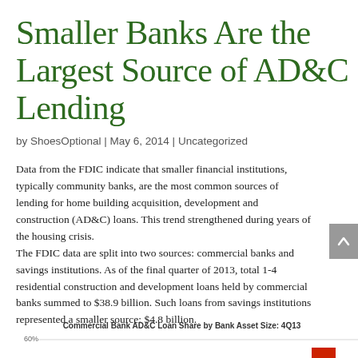Smaller Banks Are the Largest Source of AD&C Lending
by ShoesOptional | May 6, 2014 | Uncategorized
Data from the FDIC indicate that smaller financial institutions, typically community banks, are the most common sources of lending for home building acquisition, development and construction (AD&C) loans. This trend strengthened during years of the housing crisis.
The FDIC data are split into two sources: commercial banks and savings institutions. As of the final quarter of 2013, total 1-4 residential construction and development loans held by commercial banks summed to $38.9 billion. Such loans from savings institutions represented a smaller source: $4.8 billion.
Commercial Bank AD&C Loan Share by Bank Asset Size: 4Q13
[Figure (bar-chart): Bar chart showing commercial bank AD&C loan share by bank asset size for 4Q13, with 60% gridline visible at top]